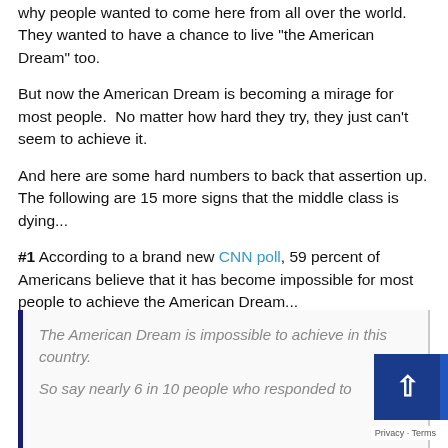why people wanted to come here from all over the world. They wanted to have a chance to live “the American Dream” too.
But now the American Dream is becoming a mirage for most people.  No matter how hard they try, they just can't seem to achieve it.
And here are some hard numbers to back that assertion up. The following are 15 more signs that the middle class is dying...
#1 According to a brand new CNN poll, 59 percent of Americans believe that it has become impossible for most people to achieve the American Dream...
The American Dream is impossible to achieve in this country.
So say nearly 6 in 10 people who responded to